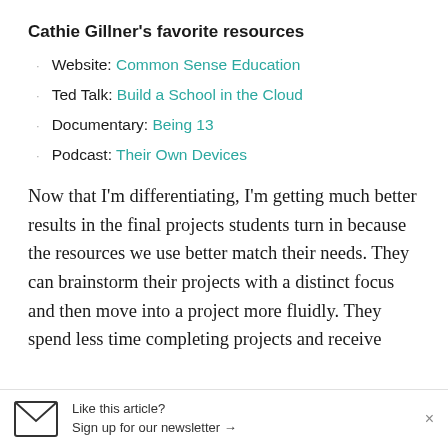Cathie Gillner's favorite resources
Website: Common Sense Education
Ted Talk: Build a School in the Cloud
Documentary: Being 13
Podcast: Their Own Devices
Now that I'm differentiating, I'm getting much better results in the final projects students turn in because the resources we use better match their needs. They can brainstorm their projects with a distinct focus and then move into a project more fluidly. They spend less time completing projects and receive
Like this article? Sign up for our newsletter →